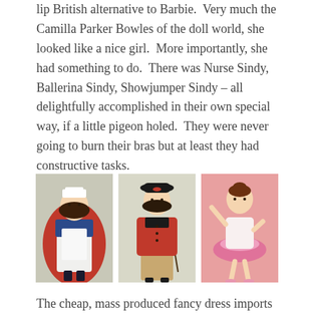lip British alternative to Barbie. Very much the Camilla Parker Bowles of the doll world, she looked like a nice girl. More importantly, she had something to do. There was Nurse Sindy, Ballerina Sindy, Showjumper Sindy – all delightfully accomplished in their own special way, if a little pigeon holed. They were never going to burn their bras but at least they had constructive tasks.
[Figure (photo): Three Sindy dolls side by side: Nurse Sindy in blue and white uniform with red cape, Showjumper Sindy in red riding jacket with black hat, and Ballerina Sindy in pink tutu on pink background.]
The cheap, mass produced fancy dress imports